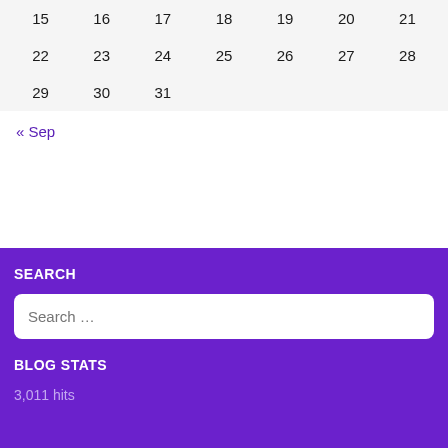| 15 | 16 | 17 | 18 | 19 | 20 | 21 |
| 22 | 23 | 24 | 25 | 26 | 27 | 28 |
| 29 | 30 | 31 |  |  |  |  |
« Sep
SEARCH
Search ...
BLOG STATS